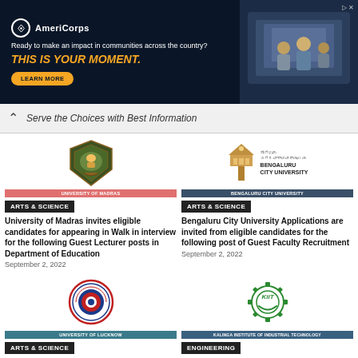[Figure (infographic): AmeriCorps advertisement banner with dark blue background, logo, text 'Ready to make an impact in communities across the country? THIS IS YOUR MOMENT.' and LEARN MORE button, with photo of students on right]
Serve the Choices with Best Information
[Figure (logo): University of Madras crest/shield logo]
[Figure (logo): Bengaluru City University logo]
UNIVERSITY OF MADRAS
ARTS & SCIENCE
BENGALURU CITY UNIVERSITY
ARTS & SCIENCE
University of Madras invites eligible candidates for appearing in Walk in interview for the following Guest Lecturer posts in Department of Education
September 2, 2022
Bengaluru City University Applications are invited from eligible candidates for the following post of Guest Faculty Recruitment
September 2, 2022
[Figure (logo): University of Lucknow circular logo in red and blue]
[Figure (logo): KIIT Kalinga Institute of Industrial Technology green gear logo]
UNIVERSITY OF LUCKNOW
ARTS & SCIENCE
KALINGA INSTITUTE OF INDUSTRIAL TECHNOLOGY
ENGINEERING